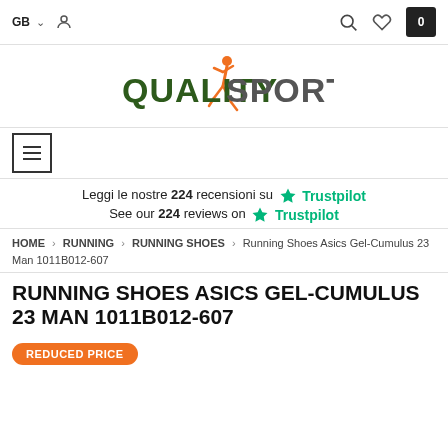GB | [user icon] | [search icon] | [heart icon] | 0
[Figure (logo): Quality Sport logo with orange running figure and dark green/grey text]
[Figure (other): Hamburger menu button (three horizontal lines in a square border)]
Leggi le nostre 224 recensioni su ★ Trustpilot
See our 224 reviews on ★ Trustpilot
HOME › RUNNING › RUNNING SHOES › Running Shoes Asics Gel-Cumulus 23 Man 1011B012-607
RUNNING SHOES ASICS GEL-CUMULUS 23 MAN 1011B012-607
REDUCED PRICE